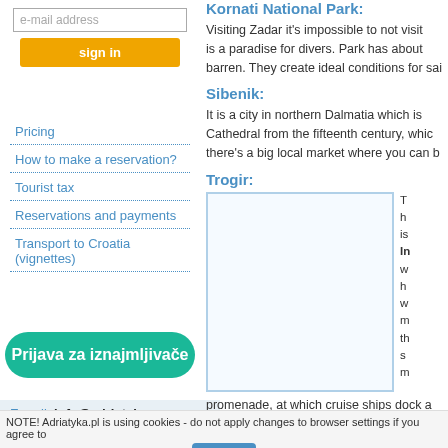e-mail address
sign in
Pricing
How to make a reservation?
Tourist tax
Reservations and payments
Transport to Croatia (vignettes)
Prijava za iznajmljivače
E-mail: info@adriatyka.com
Kornati National Park:
Visiting Zadar it's impossible to not visit is a paradise for divers. Park has about barren. They create ideal conditions for sai
Sibenik:
It is a city in northern Dalmatia which is Cathedral from the fifteenth century, whi there's a big local market where you can b
Trogir:
[Figure (photo): Trogir image placeholder - light blue bordered rectangle]
T h is w h h w m th s m promenade, at which cruise ships dock a
NOTE! Adriatyka.pl is using cookies - do not apply changes to browser settings if you agree to
Hide!